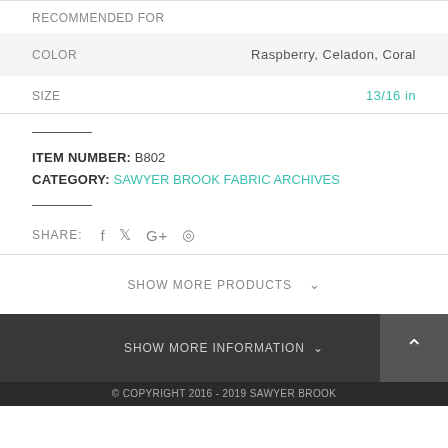RECOMMENDED FOR
|  |  |
| --- | --- |
| COLOR | Raspberry, Celadon, Coral |
| SIZE | 13/16 in |
ITEM NUMBER: B802
CATEGORY: SAWYER BROOK FABRIC ARCHIVES
SHARE: f  ⁒  G+  ⊕
SHOW MORE PRODUCTS
SHOW MORE INFORMATION
© COPYRIGHT 2016 - 2019 SAWYER BROOK